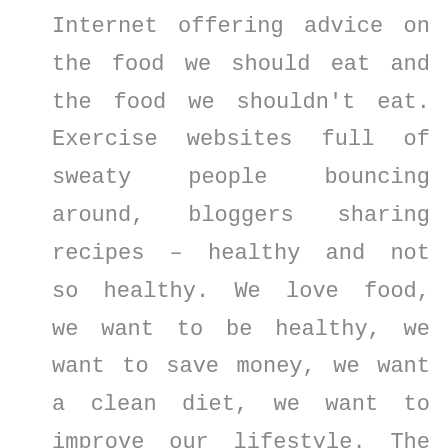Internet offering advice on the food we should eat and the food we shouldn't eat. Exercise websites full of sweaty people bouncing around, bloggers sharing recipes – healthy and not so healthy. We love food, we want to be healthy, we want to save money, we want a clean diet, we want to improve our lifestyle. The place to find out how is the .DIET online space. If you offer dietary advice, recipes, fitness, vegan diets, vegetarian diets, baby feeding advice, weight loss/weight gain, or even a pizza diet – register your .DIET domain name today and shar...